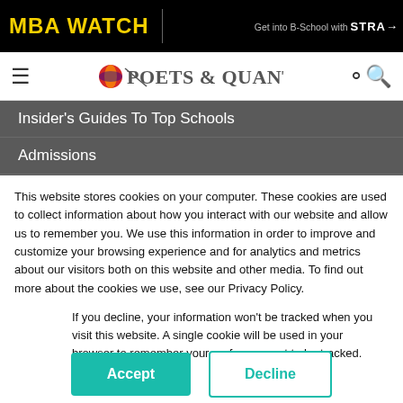MBA WATCH | Get into B-School with STRA...
[Figure (logo): Poets & Quants logo with hamburger menu and search icon]
Insider's Guides To Top Schools
Admissions
Admissions News & Advice
This website stores cookies on your computer. These cookies are used to collect information about how you interact with our website and allow us to remember you. We use this information in order to improve and customize your browsing experience and for analytics and metrics about our visitors both on this website and other media. To find out more about the cookies we use, see our Privacy Policy.
If you decline, your information won't be tracked when you visit this website. A single cookie will be used in your browser to remember your preference not to be tracked.